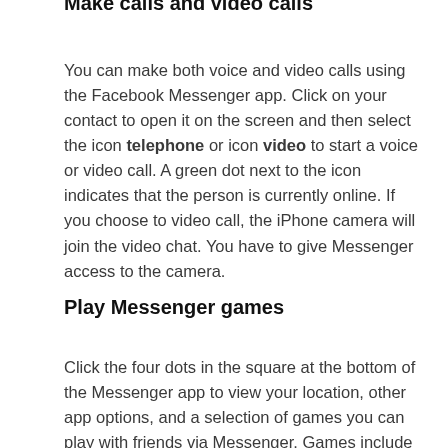You can make both voice and video calls using the Facebook Messenger app. Click on your contact to open it on the screen and then select the icon telephone or icon video to start a voice or video call. A green dot next to the icon indicates that the person is currently online. If you choose to video call, the iPhone camera will join the video chat. You have to give Messenger access to the camera.
Play Messenger games
Click the four dots in the square at the bottom of the Messenger app to view your location, other app options, and a selection of games you can play with friends via Messenger. Games include Words With